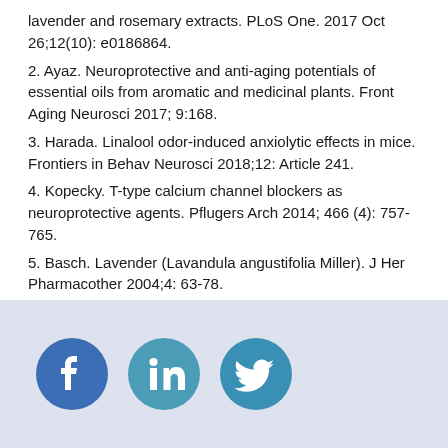lavender and rosemary extracts. PLoS One. 2017 Oct 26;12(10): e0186864.
2. Ayaz. Neuroprotective and anti-aging potentials of essential oils from aromatic and medicinal plants. Front Aging Neurosci 2017; 9:168.
3. Harada. Linalool odor-induced anxiolytic effects in mice. Frontiers in Behav Neurosci 2018;12: Article 241.
4. Kopecky. T-type calcium channel blockers as neuroprotective agents. Pflugers Arch 2014; 466 (4): 757-765.
5. Basch. Lavender (Lavandula angustifolia Miller). J Her Pharmacother 2004;4: 63-78.
[Figure (logo): Social media icons: Facebook, LinkedIn, Twitter (circular teal/blue buttons)]